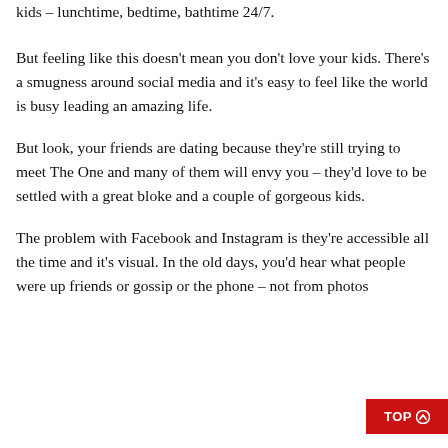kids – lunchtime, bedtime, bathtime 24/7.
But feeling like this doesn't mean you don't love your kids. There's a smugness around social media and it's easy to feel like the world is busy leading an amazing life.
But look, your friends are dating because they're still trying to meet The One and many of them will envy you – they'd love to be settled with a great bloke and a couple of gorgeous kids.
The problem with Facebook and Instagram is they're accessible all the time and it's visual. In the old days, you'd hear what people were up friends or gossip or the phone – not from photos